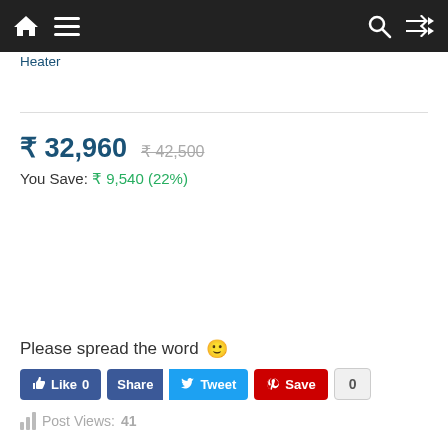[Figure (screenshot): Navigation bar with home icon, hamburger menu, search icon, and shuffle icon on dark background]
Heater
₹ 32,960  ₹ 42,500
You Save: ₹ 9,540 (22%)
Please spread the word 🙂
Like 0  Share  Tweet  Save  0
Post Views: 41